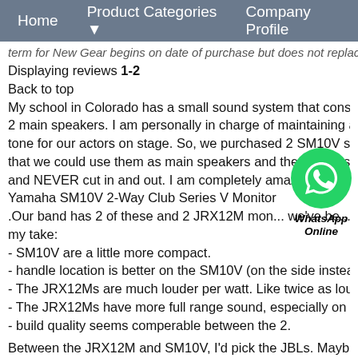Home   Product Categories ▼   Company Profile
term for New Gear begins on date of purchase but does not replac...
Displaying reviews 1-2
Back to top
My school in Colorado has a small sound system that cons... 2 main speakers. I am personally in charge of maintaining a... tone for our actors on stage. So, we purchased 2 SM10V s... that we could use them as main speakers and they could s... and NEVER cut in and out. I am completely amazed by the... Yamaha SM10V 2-Way Club Series V Monitor
[Figure (logo): WhatsApp green circle icon with phone handset, labeled WhatsApp Online]
.Our band has 2 of these and 2 JRX12M mon... we've be... my take:
- SM10V are a little more compact.
- handle location is better on the SM10V (on the side instea...
- The JRX12Ms are much louder per watt. Like twice as lou...
- The JRX12Ms have more full range sound, especially on t...
- build quality seems comperable between the 2.
Between the JRX12M and SM10V, I'd pick the JBLs. Maybe... how many features can a speaker have?
good quality
As I mention below, I'd spend a little more and get the JRX...
Yamaha SM10V 2-Way Club Series V Monitor